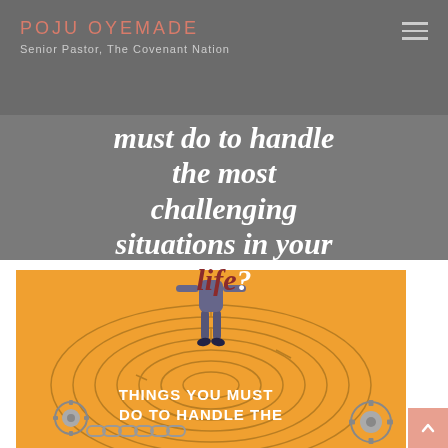POJU OYEMADE
Senior Pastor, The Covenant Nation
must do to handle the most challenging situations in your life?
[Figure (illustration): Book/blog post cover image with orange background showing a person standing at the center of a circular maze from above, with mechanical chain/gear elements at the bottom and white bold text reading 'THINGS YOU MUST DO TO HANDLE THE']